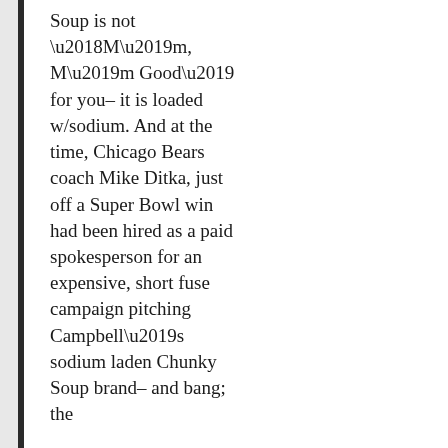Soup is not ‘M’m, M’m Good’ for you– it is loaded w/sodium. And at the time, Chicago Bears coach Mike Ditka, just off a Super Bowl win had been hired as a paid spokesperson for an expensive, short fuse campaign pitching Campbell’s sodium laden Chunky Soup brand– and bang; the